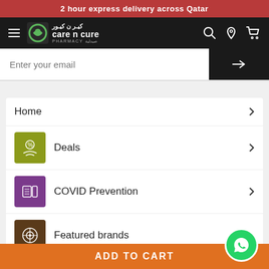2 hour express delivery across Qatar
[Figure (screenshot): Care n Cure Pharmacy navigation bar with logo, hamburger menu, search, location, and cart icons on dark background]
Enter your email
Home
Deals
COVID Prevention
Featured brands
Medicines
ADD TO CART